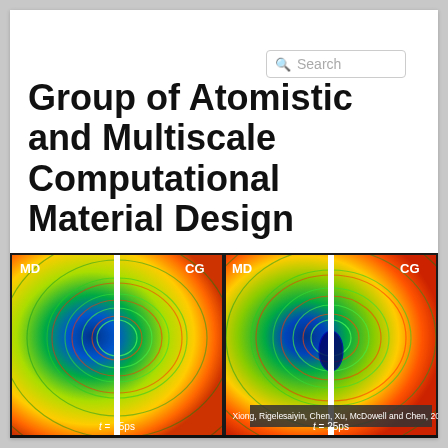Group of Atomistic and Multiscale Computational Material Design
Iowa State University | Department of Aerospace Engineering | Dr. Liming Xiong
[Figure (illustration): Two side-by-side MD/CG simulation images showing atomistic stress field visualizations. Left image labeled MD and CG with timestamp t = 15ps. Right image labeled MD and CG with timestamp t = 25ps and citation 'Xiong, Rigelesaiyin, Chen, Xu, McDowell and Chen, 2016'. Both show colorful concentric wave patterns (green, yellow, red, blue) emanating from a central white vertical line representing a simulation boundary.]